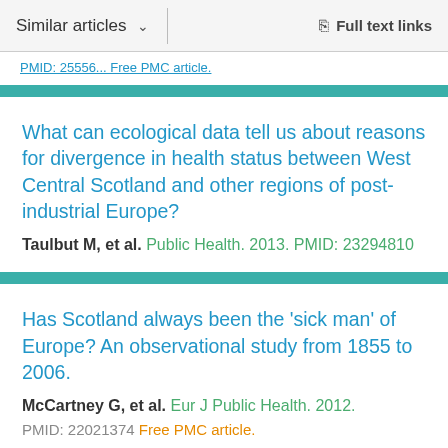Similar articles ∨ Full text links
PMID: 25556... Free PMC article.
What can ecological data tell us about reasons for divergence in health status between West Central Scotland and other regions of post-industrial Europe?
Taulbut M, et al. Public Health. 2013. PMID: 23294810
Has Scotland always been the 'sick man' of Europe? An observational study from 1855 to 2006.
McCartney G, et al. Eur J Public Health. 2012. PMID: 22021374 Free PMC article.